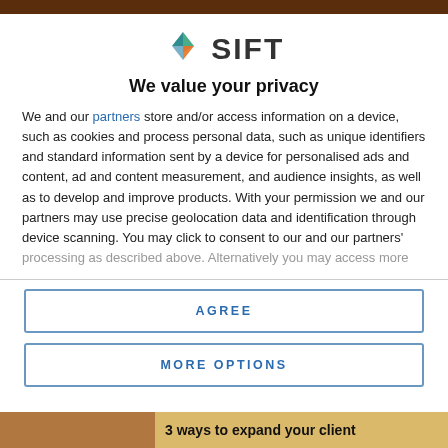[Figure (logo): SIFT logo with colorful geometric diamond shape and bold SIFT text]
We value your privacy
We and our partners store and/or access information on a device, such as cookies and process personal data, such as unique identifiers and standard information sent by a device for personalised ads and content, ad and content measurement, and audience insights, as well as to develop and improve products. With your permission we and our partners may use precise geolocation data and identification through device scanning. You may click to consent to our and our partners' processing as described above. Alternatively you may access more
AGREE
MORE OPTIONS
3 ways to expand your client